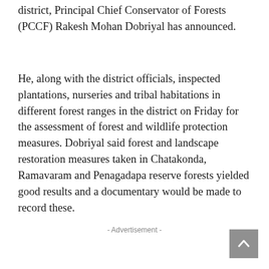district, Principal Chief Conservator of Forests (PCCF) Rakesh Mohan Dobriyal has announced.
He, along with the district officials, inspected plantations, nurseries and tribal habitations in different forest ranges in the district on Friday for the assessment of forest and wildlife protection measures. Dobriyal said forest and landscape restoration measures taken in Chatakonda, Ramavaram and Penagadapa reserve forests yielded good results and a documentary would be made to record these.
- Advertisement -